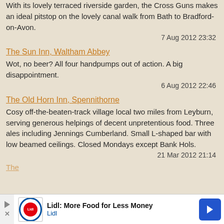With its lovely terraced riverside garden, the Cross Guns makes an ideal pitstop on the lovely canal walk from Bath to Bradford-on-Avon.
7 Aug 2012 23:32
The Sun Inn, Waltham Abbey
Wot, no beer? All four handpumps out of action. A big disappointment.
6 Aug 2012 22:46
The Old Horn Inn, Spennithorne
Cosy off-the-beaten-track village local two miles from Leyburn, serving generous helpings of decent unpretentious food. Three ales including Jennings Cumberland. Small L-shaped bar with low beamed ceilings. Closed Mondays except Bank Hols.
21 Mar 2012 21:14
The
[Figure (screenshot): Lidl advertisement banner: Lidl More Food for Less Money with Lidl logo and navigation arrow button]